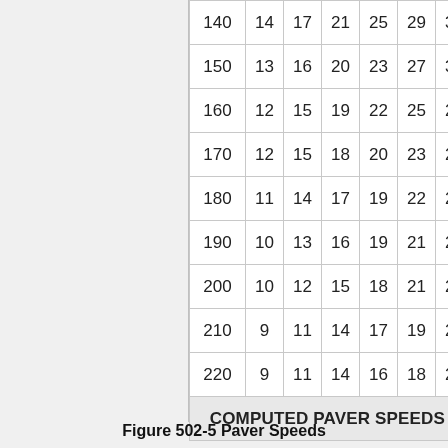|  | col1 | col2 | col3 | col4 | col5 | col6 | col7 |
| --- | --- | --- | --- | --- | --- | --- | --- |
| 140 | 14 | 17 | 21 | 25 | 29 | 32 | 36 |
| 150 | 13 | 16 | 20 | 23 | 27 | 30 | 33 |
| 160 | 12 | 15 | 19 | 22 | 25 | 28 | 31 |
| 170 | 12 | 15 | 18 | 20 | 23 | 26 | 30 |
| 180 | 11 | 14 | 17 | 19 | 22 | 25 | 28 |
| 190 | 10 | 13 | 16 | 19 | 21 | 23 | 26 |
| 200 | 10 | 12 | 15 | 18 | 21 | 22 | 25 |
| 210 | 9 | 11 | 14 | 17 | 19 | 21 | 24 |
| 220 | 9 | 11 | 14 | 16 | 18 | 20 | 23 |
Figure 502-5 Paver Speeds